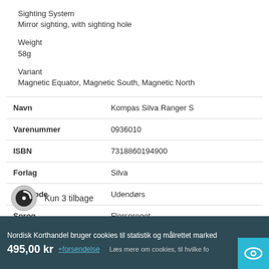Sighting System
Mirror sighting, with sighting hole
Weight
58g
Variant
Magnetic Equator, Magnetic South, Magnetic North
|  |  |
| --- | --- |
| Navn | Kompas Silva Ranger S |
| Varenummer | 0936010 |
| ISBN | 7318860194900 |
| Forlag | Silva |
| Varekode | Udendørs |
| Sprog | Flersproget |
Kun 3 tilbage
Nordisk Korthandel bruger cookies til statistik og målrettet markedsf...
495,00 kr +forsendelse
Læs mere om cookies, til hvilke fo...